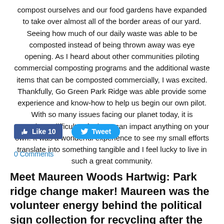compost ourselves and our food gardens have expanded to take over almost all of the border areas of our yard.  Seeing how much of our daily waste was able to be composted instead of being thrown away was eye opening.  As I heard about other communities piloting commercial composting programs and the additional waste items that can be composted commercially, I was excited.  Thankfully, Go Green Park Ridge was able provide some experience and know-how to help us begin our own pilot.  With so many issues facing our planet today, it is sometimes difficult to feel you can impact anything on your own. It was a wonderful experience to see my small efforts translate into something tangible and I feel lucky to live in such a great community.
[Figure (screenshot): Facebook Like button showing 10 likes and Twitter Tweet button]
0 Comments
Meet Maureen Woods Hartwig: Park ridge change maker!  Maureen was the volunteer energy behind the political sign collection for recycling after the park ridge elections last